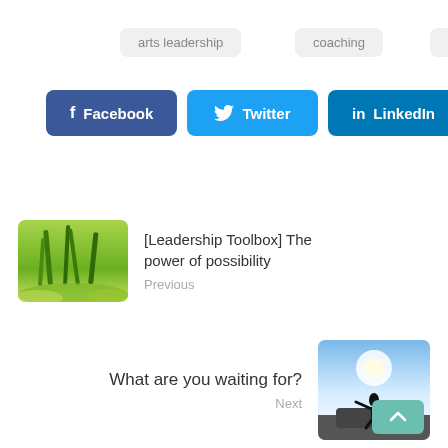arts leadership
coaching
leadership
[Figure (infographic): Social share buttons: Facebook (dark blue), Twitter (light blue), LinkedIn (medium blue)]
[Figure (photo): Thumbnail photo of green grass blades in sunlight]
[Leadership Toolbox] The power of possibility
Previous
What are you waiting for?
Next
[Figure (photo): Thumbnail photo of silhouette person jumping against bright sky]